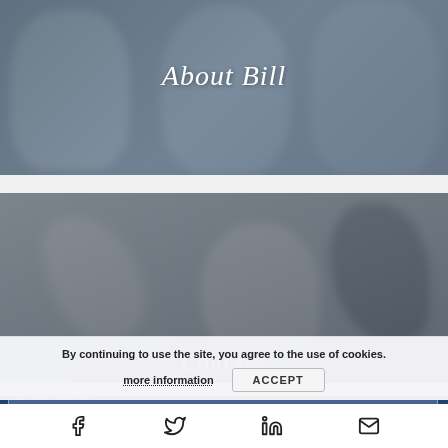[Figure (photo): Blurry photo of people in a meeting or business discussion with overlay text 'About Bill']
About Bill
[Figure (photo): Blurry photo showing hands and dark shapes, partially cropped, with partial text 'Courses' visible at bottom]
By continuing to use the site, you agree to the use of cookies.
more information
ACCEPT
E-mail Address
SUBSCRIBE